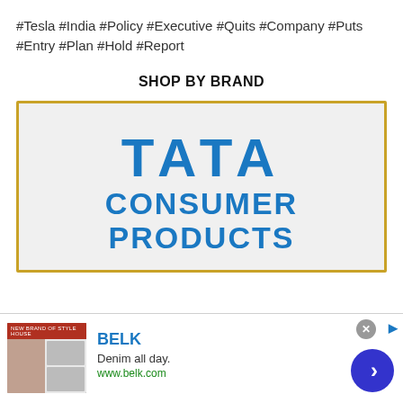#Tesla #India #Policy #Executive #Quits #Company #Puts #Entry #Plan #Hold #Report
SHOP BY BRAND
[Figure (logo): Tata Consumer Products logo on a light grey background with a gold border frame]
[Figure (infographic): Advertisement banner for BELK - Denim all day. www.belk.com with a blue circular CTA button and a close button]